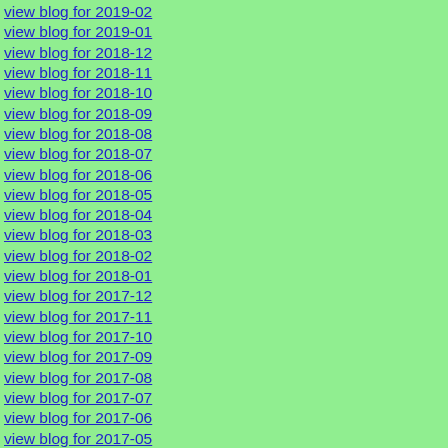view blog for 2019-02
view blog for 2019-01
view blog for 2018-12
view blog for 2018-11
view blog for 2018-10
view blog for 2018-09
view blog for 2018-08
view blog for 2018-07
view blog for 2018-06
view blog for 2018-05
view blog for 2018-04
view blog for 2018-03
view blog for 2018-02
view blog for 2018-01
view blog for 2017-12
view blog for 2017-11
view blog for 2017-10
view blog for 2017-09
view blog for 2017-08
view blog for 2017-07
view blog for 2017-06
view blog for 2017-05
view blog for 2017-04
view blog for 2017-03
view blog for 2017-02